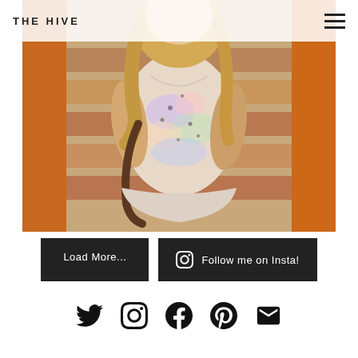THE HIVE
[Figure (photo): Woman wearing a pastel floral/tie-dye top, seated outdoors on brick steps with orange surfaces visible in background. Photo cropped to show torso and below face.]
Load More...
Follow me on Insta!
[Figure (other): Row of social media icons: Twitter bird, Instagram camera, Facebook f, Pinterest P, Email envelope]